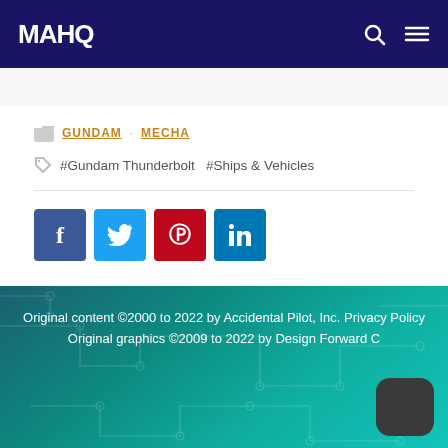MAHQ — site header with logo and navigation icons
GUNDAM   MECHA
#Gundam Thunderbolt   #Ships & Vehicles
[Figure (infographic): Social share buttons: Facebook (blue), Twitter (light blue), Pinterest (red), LinkedIn (blue)]
Original content ©2000 to 2022 by Accidental Pilot, Inc. Privacy Policy
Original graphics ©2009 to 2022 by Design Forward C